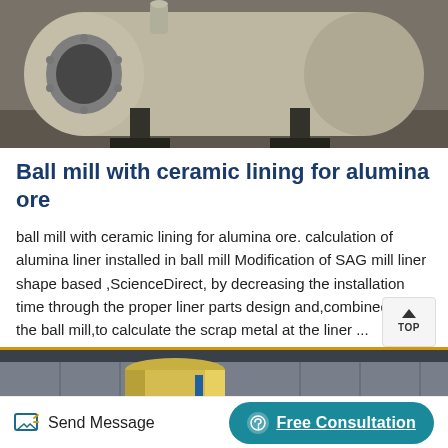[Figure (photo): Industrial ball mill machine with ceramic lining, large cylindrical drum mounted on a steel frame, photographed from front-side angle]
Ball mill with ceramic lining for alumina ore
ball mill with ceramic lining for alumina ore. calculation of alumina liner installed in ball mill Modification of SAG mill liner shape based ,ScienceDirect, by decreasing the installation time through the proper liner parts design and,combined with the ball mill,to calculate the scrap metal at the liner ...
[Figure (photo): Industrial equipment stored in a warehouse or factory, large cylindrical yellow/tan colored vessel or tank visible]
Send Message
Free Consultation